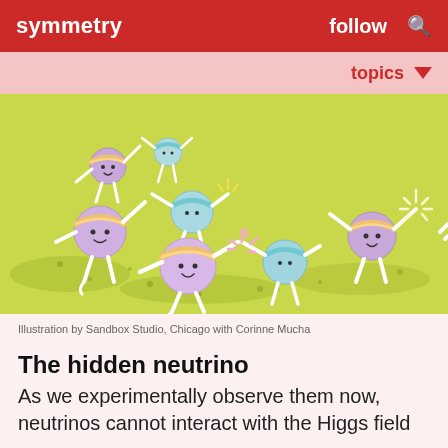symmetry   follow   🔍
topics ▼
[Figure (illustration): Cartoon illustration showing cheerful round particle characters with headbands and stick arms giving high-fives to each other on a green grassy background. The purple particles wear orange/yellow headbands and the teal/mint particles appear to be neutrinos interacting. Sparkle effects appear at the high-five contact points.]
Illustration by Sandbox Studio, Chicago with Corinne Mucha
The hidden neutrino
As we experimentally observe them now, neutrinos cannot interact with the Higgs field